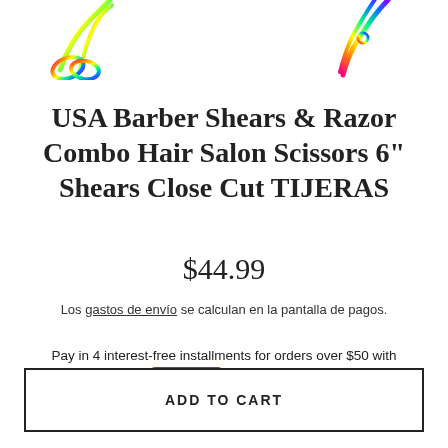[Figure (photo): Partial view of two pairs of rainbow/iridescent barber shears/scissors — one on the left and one on the right — shown against a white background. Only the top portions are visible as the image is cropped.]
USA Barber Shears & Razor Combo Hair Salon Scissors 6" Shears Close Cut TIJERAS
$44.99
Los gastos de envío se calculan en la pantalla de pagos.
Pay in 4 interest-free installments for orders over $50 with shop Pay  Learn more
ADD TO CART